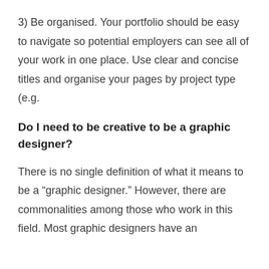3) Be organised. Your portfolio should be easy to navigate so potential employers can see all of your work in one place. Use clear and concise titles and organise your pages by project type (e.g.
Do I need to be creative to be a graphic designer?
There is no single definition of what it means to be a “graphic designer.” However, there are commonalities among those who work in this field. Most graphic designers have an